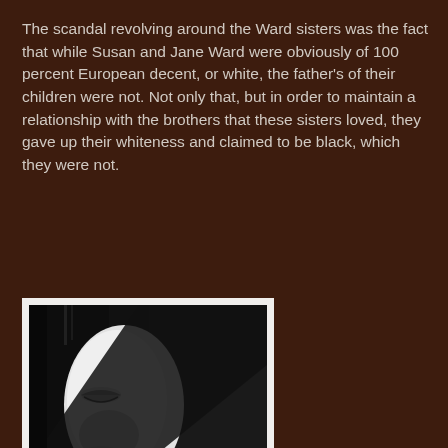The scandal revolving around the Ward sisters was the fact that while Susan and Jane Ward were obviously of 100 percent European decent, or white, the father's of their children were not. Not only that, but in order to maintain a relationship with the brothers that these sisters loved, they gave up their whiteness and claimed to be black, which they were not.
[Figure (photo): Black and white close-up photograph of a person's face, showing eyes closed with dramatic shadow across one side of the face, creating a high-contrast light and dark split]